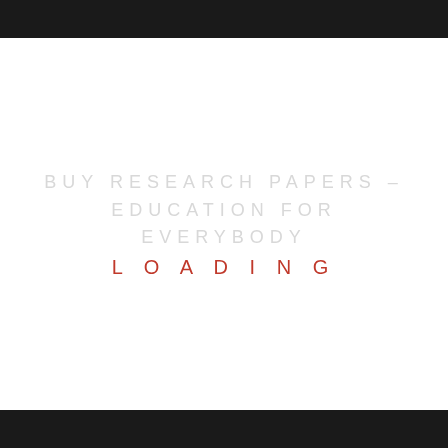BUY RESEARCH PAPERS – EDUCATION FOR EVERYBODY
LOADING